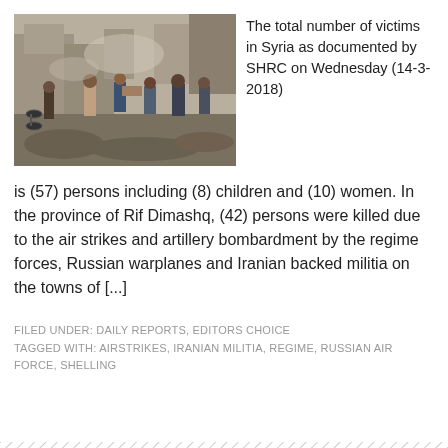[Figure (photo): People running through a destroyed, rubble-filled street in Syria, some carrying a person, with damaged buildings in the background.]
The total number of victims in Syria as documented by SHRC on Wednesday (14-3-2018)
is (57) persons including (8) children and (10) women. In the province of Rif Dimashq, (42) persons were killed due to the air strikes and artillery bombardment by the regime forces, Russian warplanes and Iranian backed militia on the towns of [...]
FILED UNDER: DAILY REPORTS, EDITORS CHOICE
TAGGED WITH: AIRSTRIKES, IRANIAN MILITIA, REGIME, RUSSIAN AIR FORCE, SHELLING